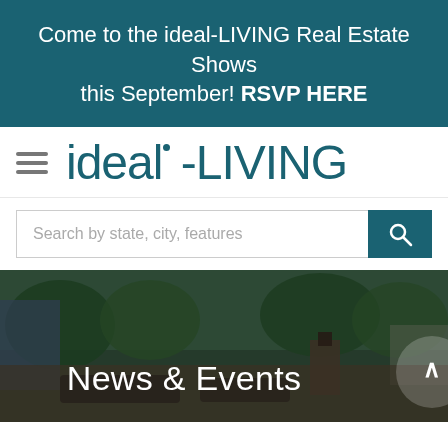Come to the ideal-LIVING Real Estate Shows this September! RSVP HERE
ideal-LIVING
Search by state, city, features
[Figure (photo): Outdoor patio/backyard scene with furniture, fireplace, and trees serving as hero banner background]
News & Events
[Figure (photo): Partial bottom image strip, appears to be a house or outdoor scene]